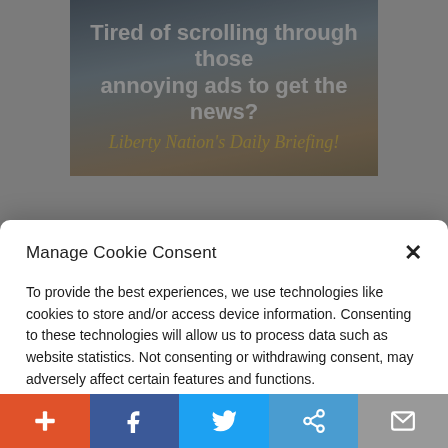[Figure (photo): Advertisement banner showing elderly couple, with text 'Tired of scrolling through those annoying ads to get the news?' and italic script 'Liberty Nation's Daily Briefing!']
Manage Cookie Consent
To provide the best experiences, we use technologies like cookies to store and/or access device information. Consenting to these technologies will allow us to process data such as website statistics. Not consenting or withdrawing consent, may adversely affect certain features and functions.
Accept
Cookie Policy   Privacy Policy
Huhn added: “I still love him (as a friend).